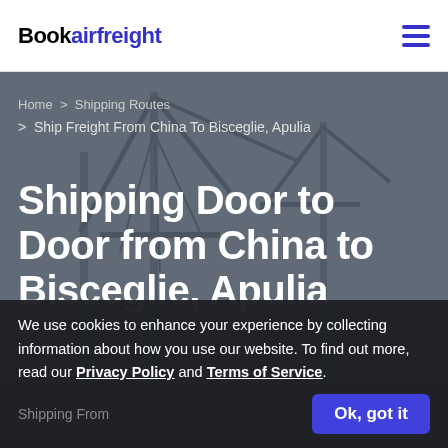Bookairfreight
Home > Shipping Routes > Ship Freight From China To Bisceglie, Apulia
Shipping Door to Door from China to Bisceglie, Apulia
We use cookies to enhance your experience by collecting information about how you use our website. To find out more, read our Privacy Policy and Terms of Service.
Shipping From
Ok, got it